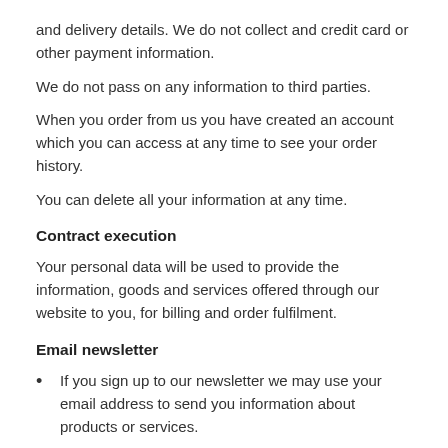and delivery details. We do not collect and credit card or other payment information.
We do not pass on any information to third parties.
When you order from us you have created an account which you can access at any time to see your order history.
You can delete all your information at any time.
Contract execution
Your personal data will be used to provide the information, goods and services offered through our website to you, for billing and order fulfilment.
Email newsletter
If you sign up to our newsletter we may use your email address to send you information about products or services.
You can opt out of these at any point and you can ask for personal data to stop being recorded at any time.
Cookies & monitoring
We use several Google tools and Bing tools to monitor the performance of our